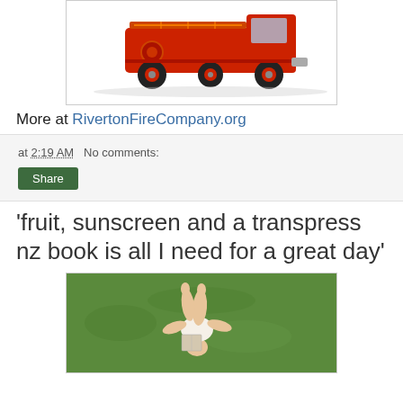[Figure (photo): A vintage red fire truck, side view, white background]
More at RivertonFireCompany.org
at 2:19 AM   No comments:
Share
'fruit, sunscreen and a transpress nz book is all I need for a great day'
[Figure (photo): Person lying on grass reading a book, legs visible, aerial view]